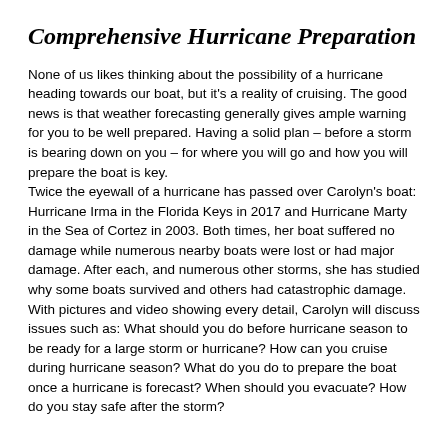Comprehensive Hurricane Preparation
None of us likes thinking about the possibility of a hurricane heading towards our boat, but it's a reality of cruising. The good news is that weather forecasting generally gives ample warning for you to be well prepared. Having a solid plan – before a storm is bearing down on you – for where you will go and how you will prepare the boat is key.
Twice the eyewall of a hurricane has passed over Carolyn's boat: Hurricane Irma in the Florida Keys in 2017 and Hurricane Marty in the Sea of Cortez in 2003. Both times, her boat suffered no damage while numerous nearby boats were lost or had major damage. After each, and numerous other storms, she has studied why some boats survived and others had catastrophic damage.
With pictures and video showing every detail, Carolyn will discuss issues such as: What should you do before hurricane season to be ready for a large storm or hurricane? How can you cruise during hurricane season? What do you do to prepare the boat once a hurricane is forecast? When should you evacuate? How do you stay safe after the storm?